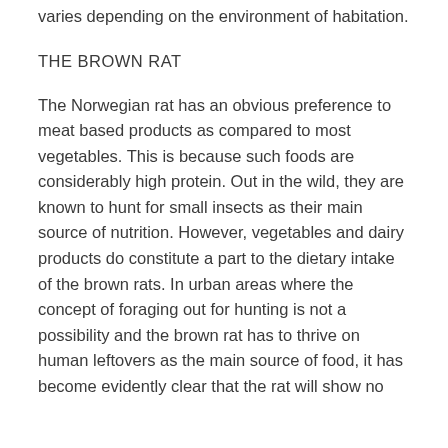varies depending on the environment of habitation.
THE BROWN RAT
The Norwegian rat has an obvious preference to meat based products as compared to most vegetables. This is because such foods are considerably high protein. Out in the wild, they are known to hunt for small insects as their main source of nutrition. However, vegetables and dairy products do constitute a part to the dietary intake of the brown rats. In urban areas where the concept of foraging out for hunting is not a possibility and the brown rat has to thrive on human leftovers as the main source of food, it has become evidently clear that the rat will show no